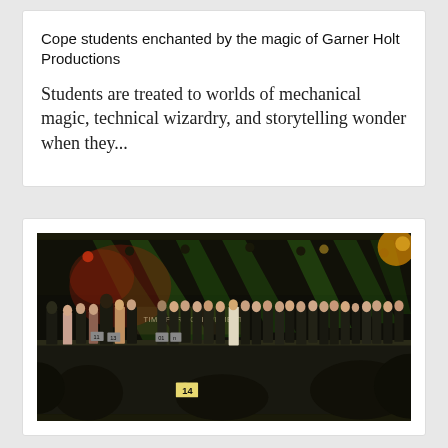Cope students enchanted by the magic of Garner Holt Productions
Students are treated to worlds of mechanical magic, technical wizardry, and storytelling wonder when they...
[Figure (photo): A large stage event with many people standing on a stage under dramatic green and red stage lighting, with audience members in the foreground photographing. A banner reading 'TIME FOR ACHIEVEMENT' is visible. A number '14' placard is visible in the foreground.]